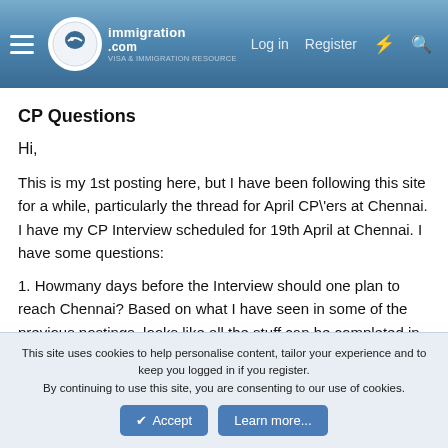immigration.com — Log in | Register
CP Questions
Hi,
This is my 1st posting here, but I have been following this site for a while, particularly the thread for April CP\'ers at Chennai. I have my CP Interview scheduled for 19th April at Chennai. I have some questions:
1. Howmany days before the Interview should one plan to reach Chennai? Based on what I have seen in some of the previous postings, looks like all the stuff can be completed in 2 days (if everything goes well!!). What are you guys planning?
This site uses cookies to help personalise content, tailor your experience and to keep you logged in if you register. By continuing to use this site, you are consenting to our use of cookies.